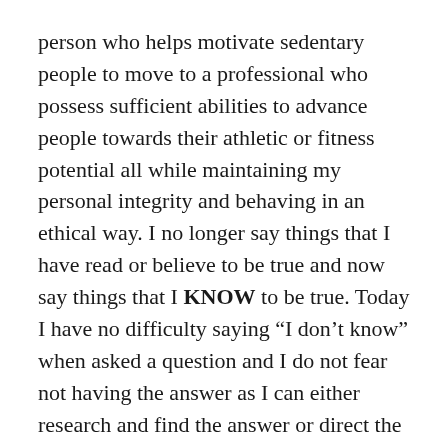person who helps motivate sedentary people to move to a professional who possess sufficient abilities to advance people towards their athletic or fitness potential all while maintaining my personal integrity and behaving in an ethical way. I no longer say things that I have read or believe to be true and now say things that I KNOW to be true. Today I have no difficulty saying “I don’t know” when asked a question and I do not fear not having the answer as I can either research and find the answer or direct the person to a more knowledgeable coach / trainer. I understand where I fit into the big picture and make sure I do not venture where I do not belong.
This is something that I try to impart to the